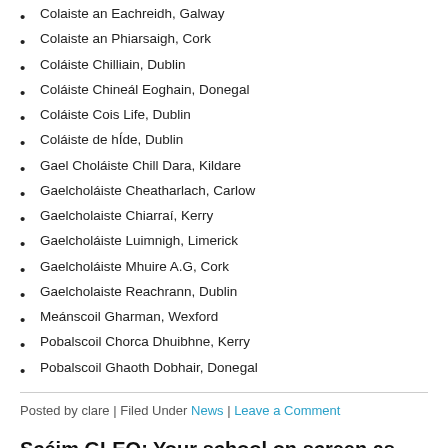Colaiste an Eachreidh, Galway
Colaiste an Phiarsaigh, Cork
Coláiste Chilliain, Dublin
Coláiste Chineál Eoghain, Donegal
Coláiste Cois Life, Dublin
Coláiste de hÍde, Dublin
Gael Choláiste Chill Dara, Kildare
Gaelcholáiste Cheatharlach, Carlow
Gaelcholaiste Chiarraí, Kerry
Gaelcholáiste Luimnigh, Limerick
Gaelcholáiste Mhuire A.G, Cork
Gaelcholaiste Reachrann, Dublin
Meánscoil Gharman, Wexford
Pobalscoil Chorca Dhuibhne, Kerry
Pobalscoil Ghaoth Dobhair, Donegal
Posted by clare | Filed Under News | Leave a Comment
Scéim GLEO: Your school on screen as Gaeilge!